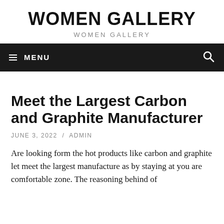WOMEN GALLERY
WOMEN GALLERY
≡ MENU
Meet the Largest Carbon and Graphite Manufacturer
JUNE 3, 2022 / ADMIN
Are looking form the hot products like carbon and graphite let meet the largest manufacture as by staying at you are comfortable zone. The reasoning behind of